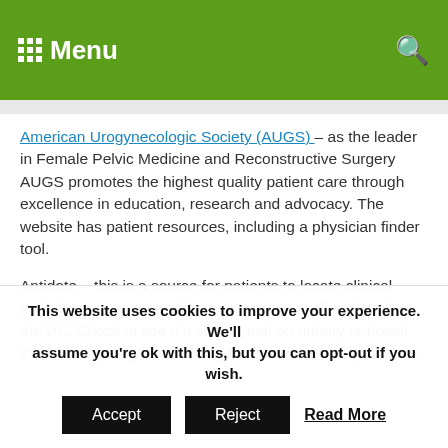Menu
American Urogynecologic Society (AUGS) – as the leader in Female Pelvic Medicine and Reconstructive Surgery AUGS promotes the highest quality patient care through excellence in education, research and advocacy. The website has patient resources, including a physician finder tool.
Antidote – this is a source for patients to locate clinical trials. Many people qualify to participate in clinical trials in the US. Check to see if a clinical trial on urinary or bowel incontinence might be looking for participants in your area.
This website uses cookies to improve your experience. We'll assume you're ok with this, but you can opt-out if you wish. Accept Reject Read More